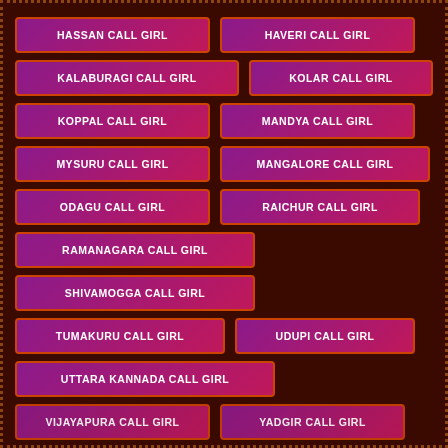HASSAN CALL GIRL
HAVERI CALL GIRL
KALABURAGI CALL GIRL
KOLAR CALL GIRL
KOPPAL CALL GIRL
MANDYA CALL GIRL
MYSURU CALL GIRL
MANGALORE CALL GIRL
ODAGU CALL GIRL
RAICHUR CALL GIRL
RAMANAGARA CALL GIRL
SHIVAMOGGA CALL GIRL
TUMAKURU CALL GIRL
UDUPI CALL GIRL
UTTARA KANNADA CALL GIRL
VIJAYAPURA CALL GIRL
YADGIR CALL GIRL